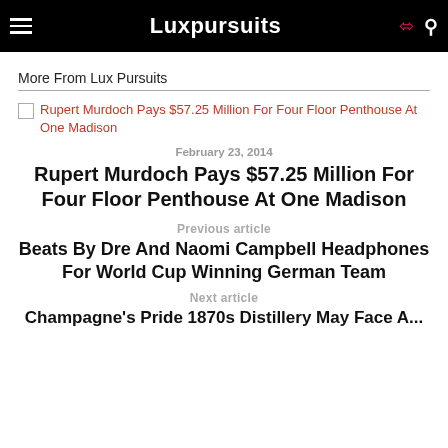Luxpursuits
More From Lux Pursuits
Rupert Murdoch Pays $57.25 Million For Four Floor Penthouse At One Madison
February 23, 2014
Rupert Murdoch Pays $57.25 Million For Four Floor Penthouse At One Madison
Previous article
Beats By Dre And Naomi Campbell Headphones For World Cup Winning German Team
Next article
Champagne's Pride 1870s Distillery May Face A...